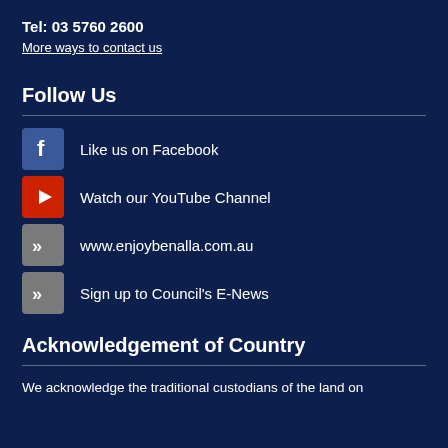Tel: 03 5760 2600
More ways to contact us
Follow Us
Like us on Facebook
Watch our YouTube Channel
www.enjoybenalla.com.au
Sign up to Council's E-News
Acknowledgement of Country
We acknowledge the traditional custodians of the land on